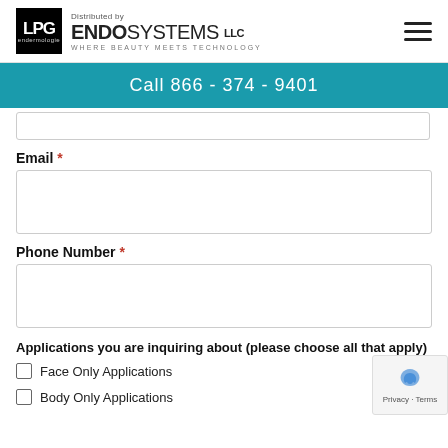[Figure (logo): LPG Endermologie logo with 'Distributed by ENDOSYSTEMS LLC — Where Beauty Meets Technology' text and hamburger menu icon]
Call 866 - 374 - 9401
Email *
Phone Number *
Applications you are inquiring about (please choose all that apply)
Face Only Applications
Body Only Applications